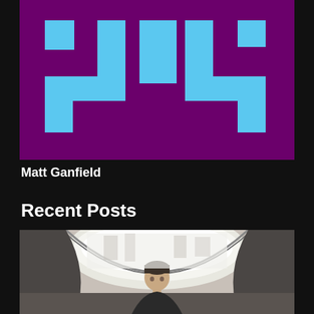[Figure (logo): Pixel art style logo with cyan/light blue geometric shapes forming letters or characters on a purple/magenta background]
Matt Ganfield
Recent Posts
[Figure (photo): Portrait photo of a young man with short hair standing in a modern architectural space with an oval/elliptical window or ceiling opening, bright light coming from above]